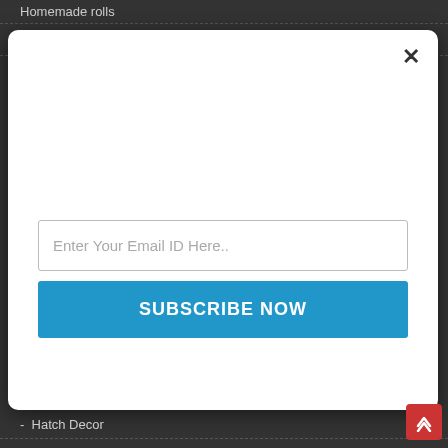- Homemade rolls
- HOP letters
[Figure (screenshot): Modal popup dialog with email subscription form. Contains a close (×) button, an email input field with placeholder 'Enter Your Email ID Here..', and a blue 'SUBSCRIBE NOW' button.]
- Hatch Decor
- ice cream birthday party
- inital's in frame
- initial Ornies